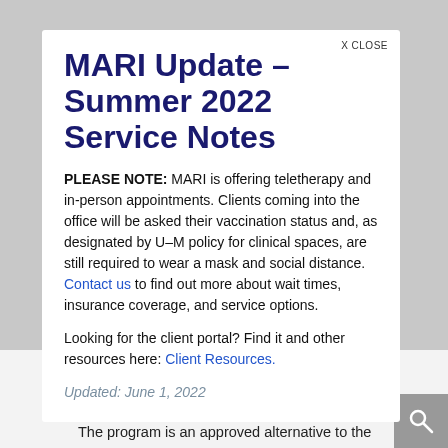MARI Update - Summer 2022 Service Notes
PLEASE NOTE: MARI is offering teletherapy and in-person appointments. Clients coming into the office will be asked their vaccination status and, as designated by U-M policy for clinical spaces, are still required to wear a mask and social distance. Contact us to find out more about wait times, insurance coverage, and service options.
Looking for the client portal? Find it and other resources here: Client Resources.
Updated: June 1, 2022
...ggestions for creating the most beneficial post-divorce parenting relationships.
The program is an approved alternative to the